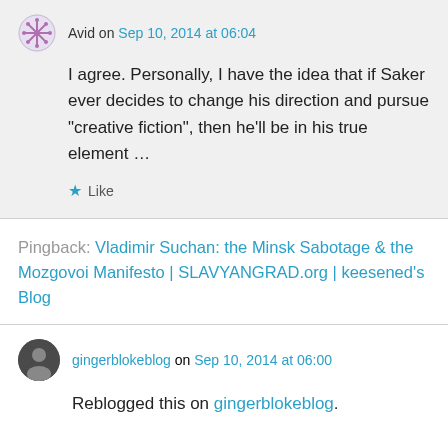Avid on Sep 10, 2014 at 06:04
I agree. Personally, I have the idea that if Saker ever decides to change his direction and pursue “creative fiction”, then he’ll be in his true element …
★ Like
Pingback: Vladimir Suchan: the Minsk Sabotage & the Mozgovoi Manifesto | SLAVYANGRAD.org | keesened’s Blog
gingerblokeblog on Sep 10, 2014 at 06:00
Reblogged this on gingerblokeblog.